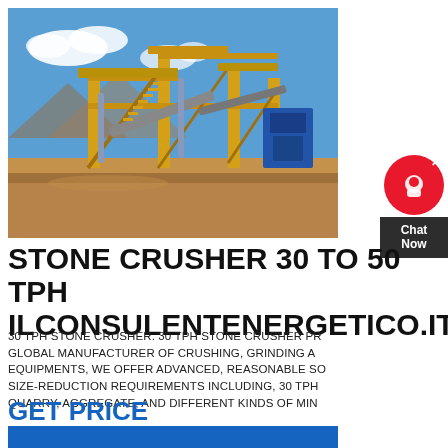[Figure (photo): Industrial stone crushing plant with yellow steel structures, conveyor belts, and machinery against a blue sky with mountains in background.]
STONE CRUSHER 30 TO 50 TPH ILCONSULENTENERGETICO.IT
30 TPH STONE CRUSHER. 30 TPH STONE CRUSHER PR GLOBAL MANUFACTURER OF CRUSHING, GRINDING A EQUIPMENTS, WE OFFER ADVANCED, REASONABLE SO SIZE-REDUCTION REQUIREMENTS INCLUDING, 30 TPH QUARRY, AGGREGATE, AND DIFFERENT KINDS OF MIN
GET PRICE